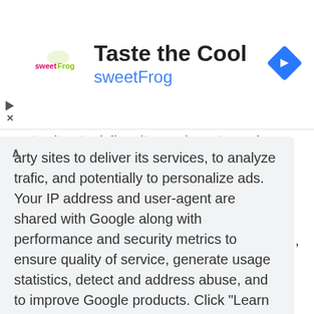[Figure (screenshot): sweetFrog advertisement banner with logo, 'Taste the Cool' title, 'sweetFrog' subtitle in blue, and a blue diamond navigation icon on the right]
arty sites to deliver its services, to analyze traffic, and potentially to personalize ads. Your IP address and user-agent are shared with Google along with performance and security metrics to ensure quality of service, generate usage statistics, detect and address abuse, and to improve Google products. Click "Learn more" to learn how your data is used, and change your cookie and privacy settings. By using this site, you agree to its use of cookies and other data.
Learn more
Got it!
Learn more: Add images and videos to your